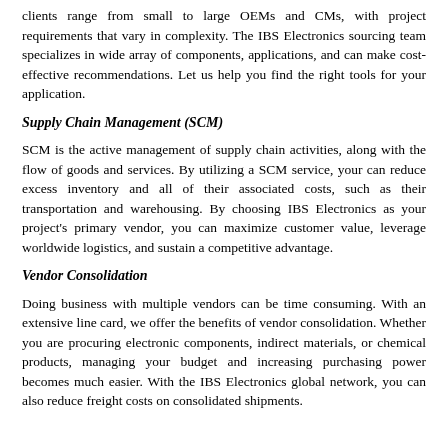clients range from small to large OEMs and CMs, with project requirements that vary in complexity. The IBS Electronics sourcing team specializes in wide array of components, applications, and can make cost-effective recommendations. Let us help you find the right tools for your application.
Supply Chain Management (SCM)
SCM is the active management of supply chain activities, along with the flow of goods and services. By utilizing a SCM service, your can reduce excess inventory and all of their associated costs, such as their transportation and warehousing. By choosing IBS Electronics as your project's primary vendor, you can maximize customer value, leverage worldwide logistics, and sustain a competitive advantage.
Vendor Consolidation
Doing business with multiple vendors can be time consuming. With an extensive line card, we offer the benefits of vendor consolidation. Whether you are procuring electronic components, indirect materials, or chemical products, managing your budget and increasing purchasing power becomes much easier. With the IBS Electronics global network, you can also reduce freight costs on consolidated shipments.